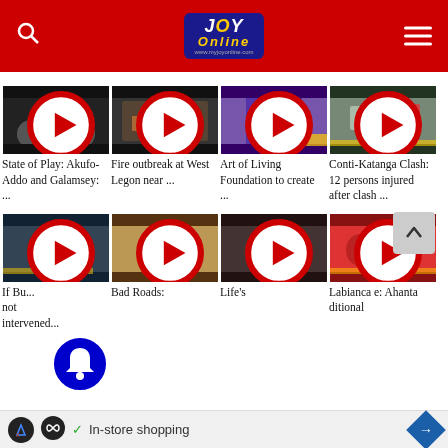Joy Online
[Figure (screenshot): Video thumbnail: State of Play - Akufo-Addo and Galamsey panel discussion with three men]
State of Play: Akufo-Addo and Galamsey: ...
[Figure (screenshot): Video thumbnail: Fire outbreak at West Legon - fire and smoke visible]
Fire outbreak at West Legon near ...
[Figure (screenshot): Video thumbnail: Art of Living Foundation - man in suit on stage]
Art of Living Foundation to create ...
[Figure (screenshot): Video thumbnail: Conti-Katanga Clash - cars on road]
Conti-Katanga Clash: 12 persons injured after clash ...
[Figure (screenshot): Video thumbnail: If Budget not intervened - man at podium]
If Budget not intervened...
[Figure (screenshot): Video thumbnail: Bad Roads - man standing on dirt road]
Bad Roads:
[Figure (screenshot): Video thumbnail: Life's - man speaking outdoors]
Life's
[Figure (screenshot): Video thumbnail: Labianca - crowd in red]
Labianca e: Ahanta ditional
In-store shopping